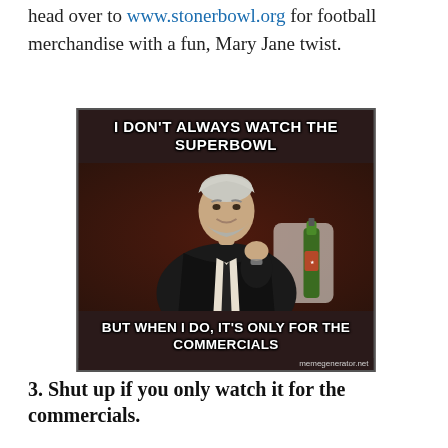head over to www.stonerbowl.org for football merchandise with a fun, Mary Jane twist.
[Figure (photo): Meme image of 'The Most Interesting Man in the World' with text: 'I DON'T ALWAYS WATCH THE SUPERBOWL' at the top and 'BUT WHEN I DO, IT'S ONLY FOR THE COMMERCIALS' at the bottom. Credit: memegenerator.net]
3. Shut up if you only watch it for the commercials.